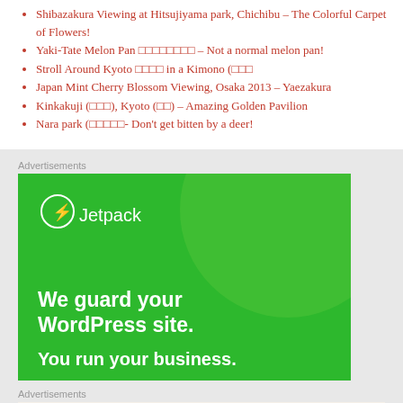Shibazakura Viewing at Hitsujiyama park, Chichibu – The Colorful Carpet of Flowers!
Yaki-Tate Melon Pan □□□□□□□□ – Not a normal melon pan!
Stroll Around Kyoto □□□□ in a Kimono (□□□
Japan Mint Cherry Blossom Viewing, Osaka 2013 – Yaezakura
Kinkakuji (□□□), Kyoto (□□) – Amazing Golden Pavilion
Nara park (□□□□□- Don't get bitten by a deer!
Advertisements
[Figure (other): Jetpack advertisement banner on green background: Jetpack logo with lightning bolt icon, headline 'We guard your WordPress site.' and subline 'You run your business.']
Advertisements
[Figure (other): WordPress advertisement: 'Need a website quickly – and on a budget?' with WordPress logo]